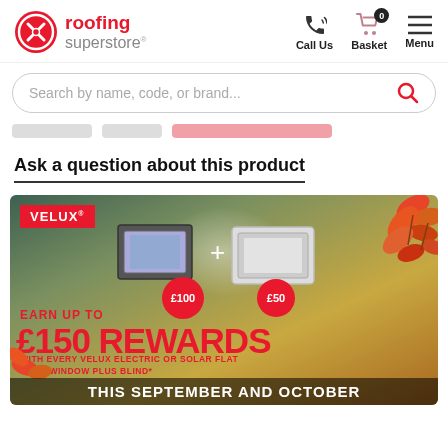[Figure (logo): Roofing Superstore logo with red circular icon and text 'roofing superstore']
[Figure (infographic): Navigation icons: phone (Call Us), shopping cart with badge 0 (Basket), hamburger menu (Menu)]
Search by name, code, or brand...
[Figure (infographic): Navigation tab bar with three pill-shaped tabs, the rightmost highlighted in pink/red]
Ask a question about this product
[Figure (infographic): VELUX promotional banner: 'EARN UP TO £150 REWARDS WITH EVERY VELUX ELECTRIC OR SOLAR FLAT ROOF WINDOW PLUS BLIND* THIS SEPTEMBER AND OCTOBER'. Shows two flat roof windows with £100 and £50 reward bubbles, autumn leaves decoration.]